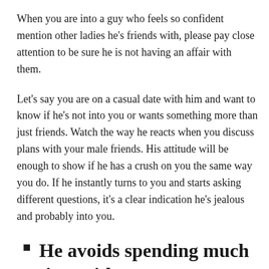When you are into a guy who feels so confident mention other ladies he's friends with, please pay close attention to be sure he is not having an affair with them.
Let's say you are on a casual date with him and want to know if he's not into you or wants something more than just friends. Watch the way he reacts when you discuss plans with your male friends. His attitude will be enough to show if he has a crush on you the same way you do. If he instantly turns to you and starts asking different questions, it's a clear indication he's jealous and probably into you.
He avoids spending much time with you
It is another significant sign to look out for. If a guy spends